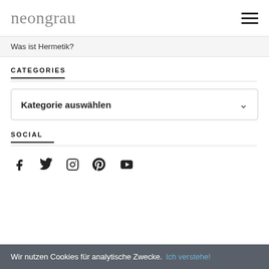neongrau
Was ist Hermetik?
CATEGORIES
Kategorie auswählen
SOCIAL
[Figure (infographic): Social media icons: Facebook, Twitter, Instagram, Pinterest, YouTube]
Wir nutzen Cookies für analytische Zwecke.  Ich verstehe!